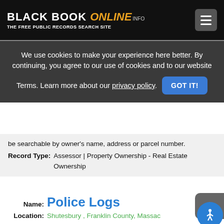BLACK BOOK ONLINE .INFO — THE FREE PUBLIC RECORDS SEARCH SITE
We use cookies to make your experience here better. By continuing, you agree to our use of cookies and to our website Terms. Learn more about our privacy policy.
GOT IT!
be searchable by owner's name, address or parcel number.
Record Type: Assessor | Property Ownership - Real Estate Ownership
Name: Police Logs
Location: Shutesbury , Franklin County, Massac…
Data Source: Town of Shutesbury Police Department
Description: Search daily logs of police calls. These must be